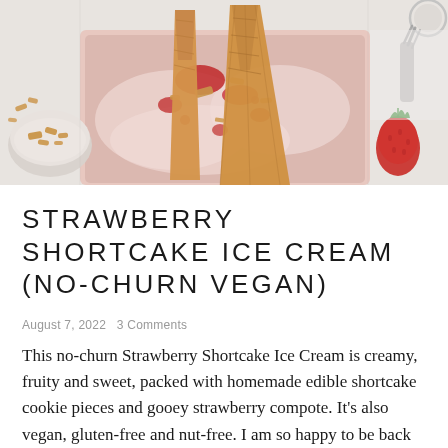[Figure (photo): Overhead photo of strawberry shortcake ice cream in a tray with waffle cones, red strawberry compote, and golden cookie crumble pieces. A small bowl of crumble is on the left, a strawberry on the right, and an ice cream scoop visible at top right.]
STRAWBERRY SHORTCAKE ICE CREAM (NO-CHURN VEGAN)
August 7, 2022  3 Comments
This no-churn Strawberry Shortcake Ice Cream is creamy, fruity and sweet, packed with homemade edible shortcake cookie pieces and gooey strawberry compote. It's also vegan, gluten-free and nut-free. I am so happy to be back with